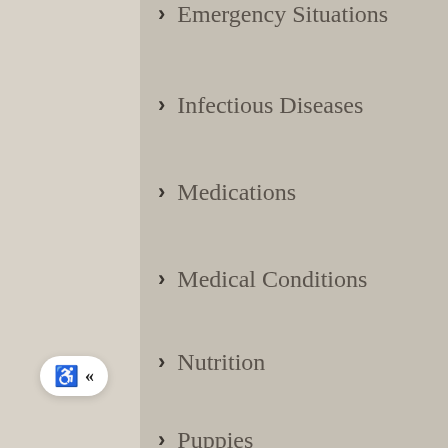Emergency Situations
Infectious Diseases
Medications
Medical Conditions
Nutrition
Puppies
Parasites
Treatment
Surgical Conditions
Tumors